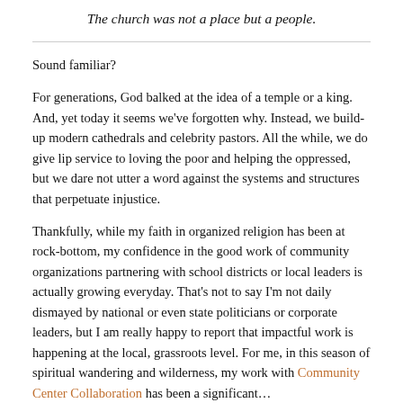The church was not a place but a people.
Sound familiar?
For generations, God balked at the idea of a temple or a king. And, yet today it seems we've forgotten why. Instead, we build-up modern cathedrals and celebrity pastors. All the while, we do give lip service to loving the poor and helping the oppressed, but we dare not utter a word against the systems and structures that perpetuate injustice.
Thankfully, while my faith in organized religion has been at rock-bottom, my confidence in the good work of community organizations partnering with school districts or local leaders is actually growing everyday. That's not to say I'm not daily dismayed by national or even state politicians or corporate leaders, but I am really happy to report that impactful work is happening at the local, grassroots level. For me, in this season of spiritual wandering and wilderness, my work with Community Center Collaboration has been a significant…